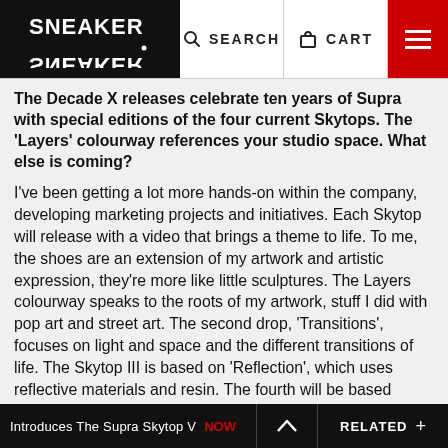SNEAKER FREAKER | SEARCH | CART | [menu]
The Decade X releases celebrate ten years of Supra with special editions of the four current Skytops. The 'Layers' colourway references your studio space. What else is coming?
I've been getting a lot more hands-on within the company, developing marketing projects and initiatives. Each Skytop will release with a video that brings a theme to life. To me, the shoes are an extension of my artwork and artistic expression, they're more like little sculptures. The Layers colourway speaks to the roots of my artwork, stuff I did with pop art and street art. The second drop, 'Transitions', focuses on light and space and the different transitions of life. The Skytop III is based on 'Reflection', which uses reflective materials and resin. The fourth will be based around texture and will reference wood and
Introduces The Supra Skytop V  NOW  ^  RELATED  +